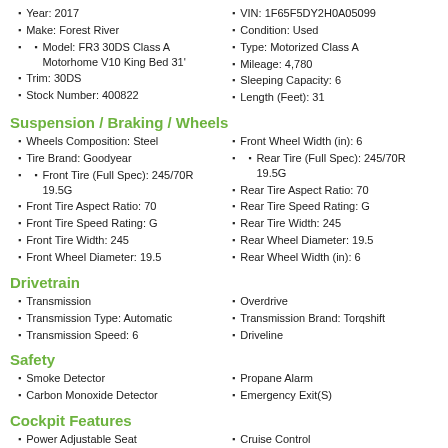Year: 2017
Make: Forest River
Model: FR3 30DS Class A Motorhome V10 King Bed 31'
Trim: 30DS
Stock Number: 400822
VIN: 1F65F5DY2H0A05099
Condition: Used
Type: Motorized Class A
Mileage: 4,780
Sleeping Capacity: 6
Length (Feet): 31
Suspension / Braking / Wheels
Wheels Composition: Steel
Tire Brand: Goodyear
Front Tire (Full Spec): 245/70R 19.5G
Front Tire Aspect Ratio: 70
Front Tire Speed Rating: G
Front Tire Width: 245
Front Wheel Diameter: 19.5
Front Wheel Width (in): 6
Rear Tire (Full Spec): 245/70R 19.5G
Rear Tire Aspect Ratio: 70
Rear Tire Speed Rating: G
Rear Tire Width: 245
Rear Wheel Diameter: 19.5
Rear Wheel Width (in): 6
Drivetrain
Transmission
Transmission Type: Automatic
Transmission Speed: 6
Overdrive
Transmission Brand: Torqshift
Driveline
Safety
Smoke Detector
Carbon Monoxide Detector
Propane Alarm
Emergency Exit(S)
Cockpit Features
Power Adjustable Seat
Seat Armrests
Cruise Control
Power Windows